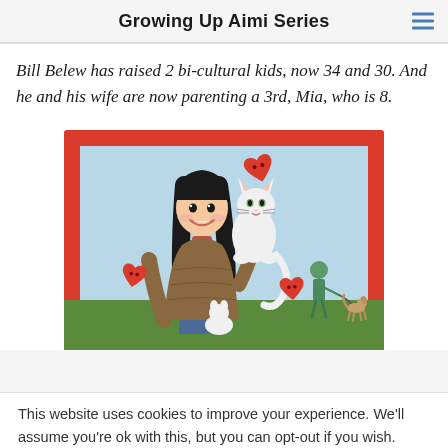Growing Up Aimi Series
Bill Belew has raised 2 bi-cultural kids, now 34 and 30. And he and his wife are now parenting a 3rd, Mia, who is 8.
[Figure (illustration): Illustration of a girl with dark hair holding a white cat, with red heart shapes floating around them. In the background, a small figure walks a dog on a green hill under a light blue sky. The image has a red border/frame.]
This website uses cookies to improve your experience. We'll assume you're ok with this, but you can opt-out if you wish.